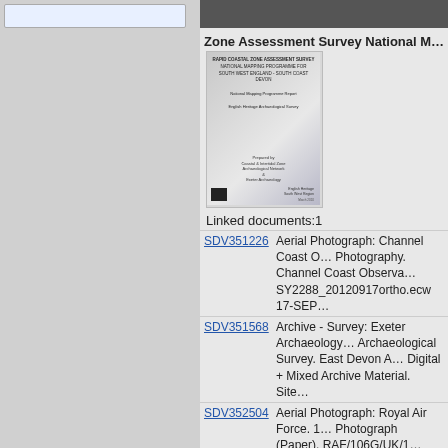[Figure (illustration): Book cover thumbnail for Rapid Coastal Zone Assessment Survey National Mapping Programme for Southwest England - South Coast Devon]
Zone Assessment Survey National M...
Linked documents:1
SDV351226  Aerial Photograph: Channel Coast O... Photography. Channel Coast Observa... SY2288_20120917ortho.ecw 17-SEP...
SDV351568  Archive - Survey: Exeter Archaeology... Archaeological Survey. East Devon A... Digital + Mixed Archive Material. Site...
SDV352504  Aerial Photograph: Royal Air Force. 1... Photograph (Paper). RAF/106G/UK/1...
SDV352650  Aerial Photograph: Royal Air Force. 1... Photograph (Paper). SY 2188/10 RA...
SDV355849  Aerial Photograph: Royal Air Force. 1... Photograph (Paper). NMR SY 2287/2...
SDV356302  Aerial Photograph: Royal Air Force. 1... Photograph (Paper). RAF/HLA/521 6...
SDV356918  Worksheet: Horner, W.. 1995. Radar... Worksheet + Digital.
SDV357736  Interpretation: Pink, F.. 2014. South M...